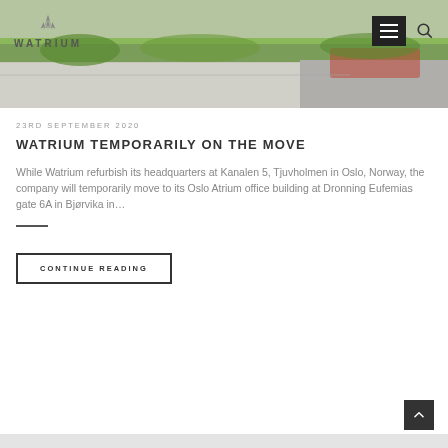[Figure (photo): Partial street/outdoor photo showing greenery, pavement and what appears to be a building or vehicle in background — top portion of a news article image]
WATRIUM
23RD SEPTEMBER 2020
WATRIUM TEMPORARILY ON THE MOVE
While Watrium refurbish its headquarters at Kanalen 5, Tjuvholmen in Oslo, Norway, the company will temporarily move to its Oslo Atrium office building at Dronning Eufemias gate 6A in Bjørvika in…
CONTINUE READING